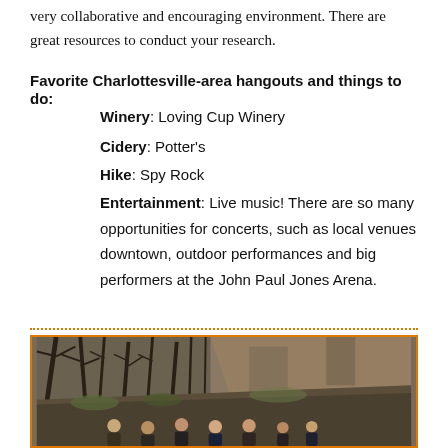very collaborative and encouraging environment. There are great resources to conduct your research.
Favorite Charlottesville-area hangouts and things to do:
Winery: Loving Cup Winery
Cidery: Potter's
Hike: Spy Rock
Entertainment: Live music! There are so many opportunities for concerts, such as local venues downtown, outdoor performances and big performers at the John Paul Jones Arena.
[Figure (photo): Group of people posing outdoors in a forested rocky area with bare trees in winter/early spring]